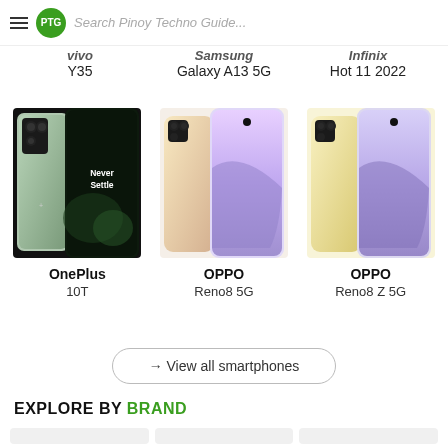Search Pinoy Techno Guide...
vivo Y35
Samsung Galaxy A13 5G
Infinix Hot 11 2022
[Figure (photo): OnePlus 10T smartphone product image showing back and front views]
OnePlus 10T
[Figure (photo): OPPO Reno8 5G smartphone product image in pink/cream color]
OPPO Reno8 5G
[Figure (photo): OPPO Reno8 Z 5G smartphone product image in yellow color]
OPPO Reno8 Z 5G
→ View all smartphones
EXPLORE BY BRAND